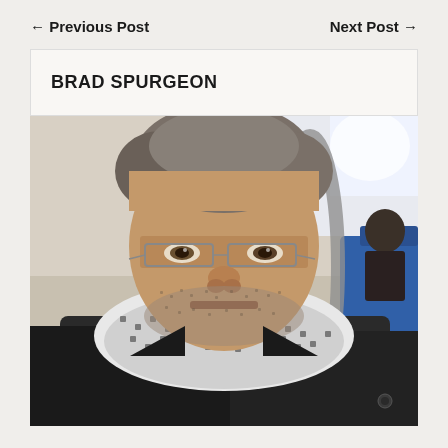← Previous Post    Next Post →
BRAD SPURGEON
[Figure (photo): Portrait photo of Brad Spurgeon, a middle-aged man with grey-streaked hair, glasses with thin metal frames, stubble beard, wearing a dark jacket and a patterned black and white scarf/keffiyeh. He appears to be sitting on public transit with blue seats visible in the background.]